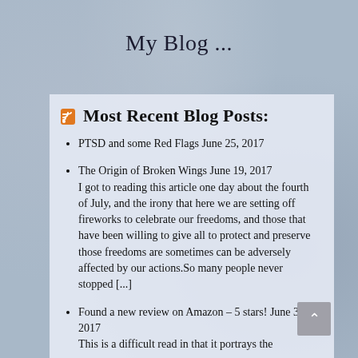My Blog ...
Most Recent Blog Posts:
PTSD and some Red Flags June 25, 2017
The Origin of Broken Wings June 19, 2017
I got to reading this article one day about the fourth of July, and the irony that here we are setting off fireworks to celebrate our freedoms, and those that have been willing to give all to protect and preserve those freedoms are sometimes can be adversely affected by our actions.So many people never stopped [...]
Found a new review on Amazon - 5 stars! June 3, 2017
This is a difficult read in that it portrays the